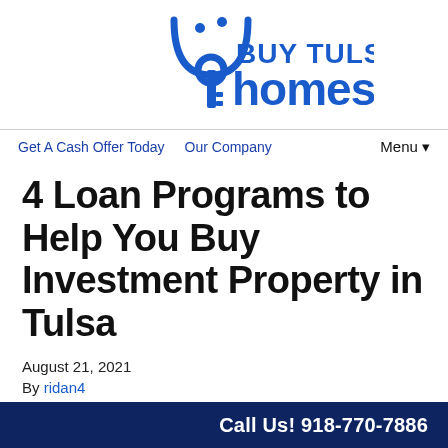[Figure (logo): Buy Tulsa Homes logo with smiley face and key icon in blue]
Get A Cash Offer Today   Our Company   Menu ▼
4 Loan Programs to Help You Buy Investment Property in Tulsa
August 21, 2021
By ridan4
Funding for real estate deals is necessary for most investors.
Call Us! 918-770-7886